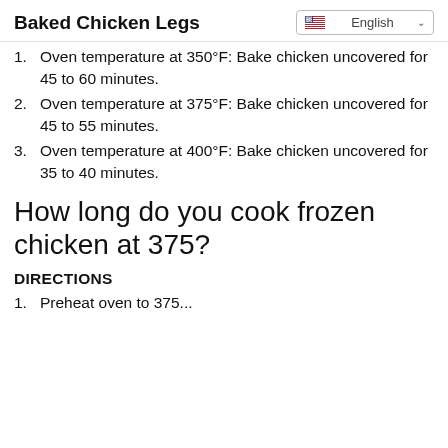Baked Chicken Legs
Oven temperature at 350°F: Bake chicken uncovered for 45 to 60 minutes.
Oven temperature at 375°F: Bake chicken uncovered for 45 to 55 minutes.
Oven temperature at 400°F: Bake chicken uncovered for 35 to 40 minutes.
How long do you cook frozen chicken at 375?
DIRECTIONS
Preheat oven to 375...